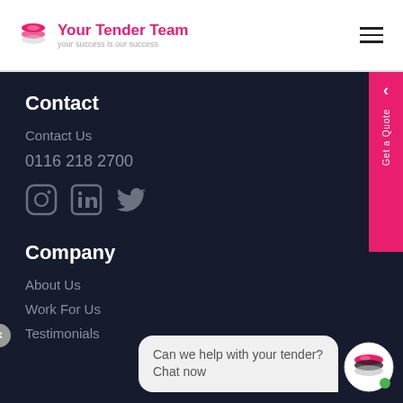Your Tender Team — your success is our success
Contact
Contact Us
0116 218 2700
[Figure (other): Social media icons: Instagram, LinkedIn, Twitter]
Company
About Us
Work For Us
Testimonials
[Figure (other): Chat widget with message: Can we help with your tender? Chat now, and avatar logo]
[Figure (other): Side tab with Get a Quote label in pink]